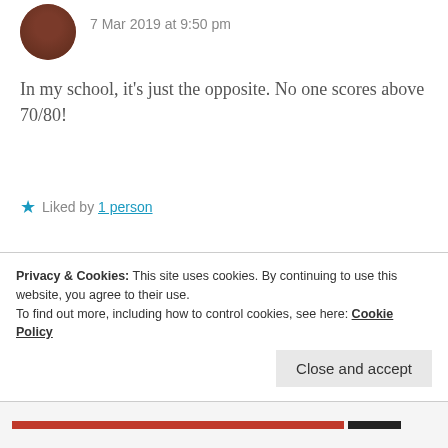7 Mar 2019 at 9:50 pm
In my school, it’s just the opposite. No one scores above 70/80!
★ Liked by 1 person
ANANYA
7 Mar 2019 at 9:51 pm
Privacy & Cookies: This site uses cookies. By continuing to use this website, you agree to their use.
To find out more, including how to control cookies, see here: Cookie Policy
Close and accept